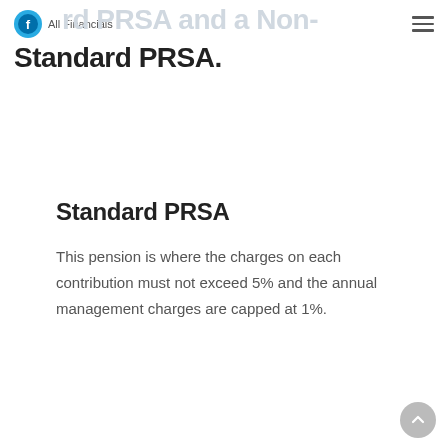All Financials
Standard PRSA and a Non-Standard PRSA.
Standard PRSA
This pension is where the charges on each contribution must not exceed 5% and the annual management charges are capped at 1%.